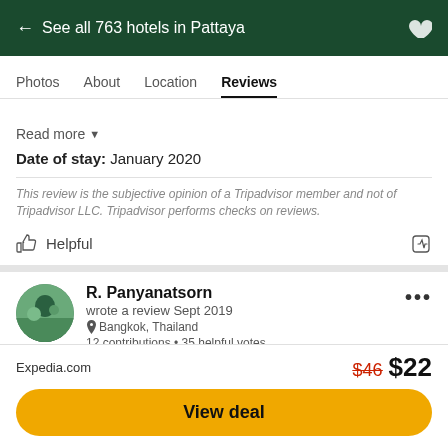← See all 763 hotels in Pattaya
Photos  About  Location  Reviews
Read more ▼
Date of stay: January 2020
This review is the subjective opinion of a Tripadvisor member and not of Tripadvisor LLC. Tripadvisor performs checks on reviews.
Helpful
R. Panyanatsorn
wrote a review Sept 2019
Bangkok, Thailand
12 contributions • 35 helpful votes
Expedia.com  $46  $22
View deal